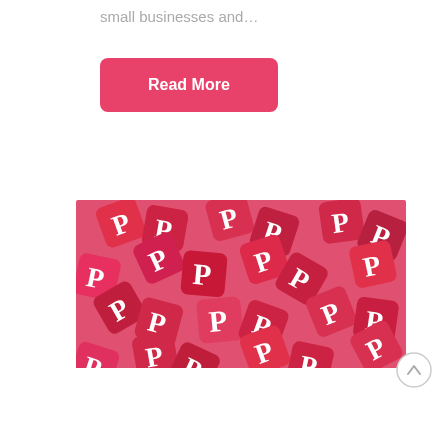small businesses and…
Read More
[Figure (photo): A pile of red Pinterest logo tiles/icons scattered in a heap, showing the Pinterest 'P' logo in white on red rounded square tiles.]
[Figure (other): A circular scroll-to-top button with an upward arrow, light gray outline.]